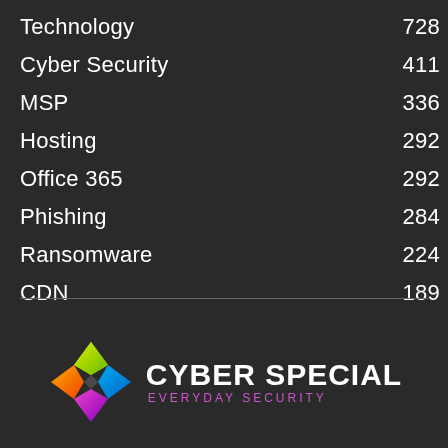Technology  728
Cyber Security  411
MSP  336
Hosting  292
Office 365  292
Phishing  284
Ransomware  224
CDN  189
[Figure (logo): Cyber Special logo with colorful butterfly/star icon and text 'CYBER SPECIAL EVERYDAY SECURITY']